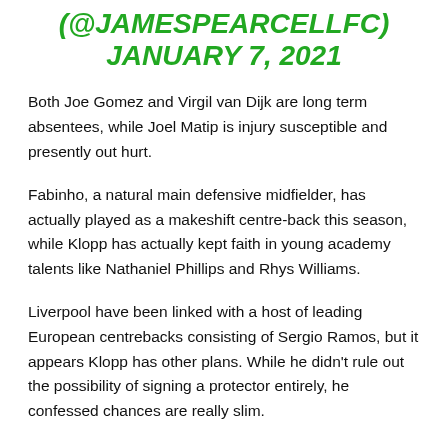(@JAMESPEARCELLFC) JANUARY 7, 2021
Both Joe Gomez and Virgil van Dijk are long term absentees, while Joel Matip is injury susceptible and presently out hurt.
Fabinho, a natural main defensive midfielder, has actually played as a makeshift centre-back this season, while Klopp has actually kept faith in young academy talents like Nathaniel Phillips and Rhys Williams.
Liverpool have been linked with a host of leading European centrebacks consisting of Sergio Ramos, but it appears Klopp has other plans. While he didn't rule out the possibility of signing a protector entirely, he confessed chances are really slim.